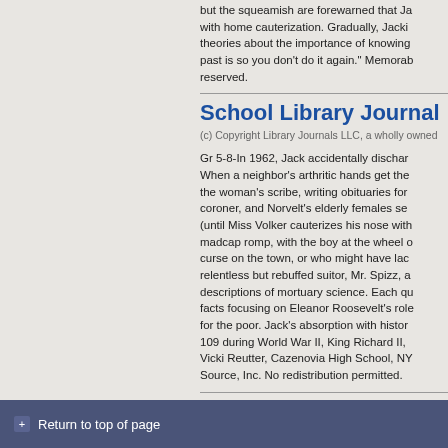but the squeamish are forewarned that Ja with home cauterization. Gradually, Jacki theories about the importance of knowing past is so you don't do it again." Memorab reserved.
School Library Journal
(c) Copyright Library Journals LLC, a wholly owned
Gr 5-8-In 1962, Jack accidentally dischar When a neighbor's arthritic hands get the the woman's scribe, writing obituaries fo coroner, and Norvelt's elderly females se (until Miss Volker cauterizes his nose wit madcap romp, with the boy at the wheel curse on the town, or who might have lac relentless but rebuffed suitor, Mr. Spizz, descriptions of mortuary science. Each q facts focusing on Eleanor Roosevelt's rol for the poor. Jack's absorption with histor 109 during World War II, King Richard II, Vicki Reutter, Cazenovia High School, NY Source, Inc. No redistribution permitted.
Terms of Use
Return to top of page